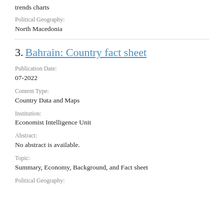trends charts
Political Geography:
North Macedonia
3. Bahrain: Country fact sheet
Publication Date:
07-2022
Content Type:
Country Data and Maps
Institution:
Economist Intelligence Unit
Abstract:
No abstract is available.
Topic:
Summary, Economy, Background, and Fact sheet
Political Geography: